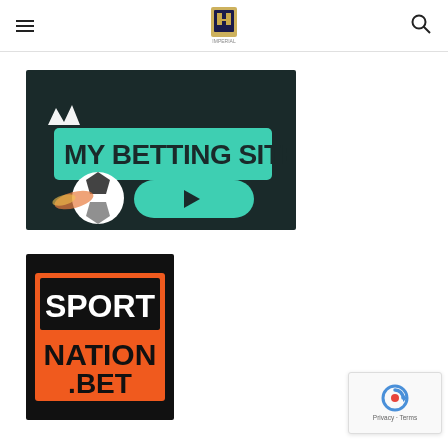Website header with hamburger menu, logo, and search icon
[Figure (illustration): My Betting Site banner with teal text bar on dark background, crown icon, soccer ball, and play button]
[Figure (logo): SportNation.Bet logo — black background with orange box containing SPORT in white on black top section and NATION.BET in black on orange]
[Figure (other): Google reCAPTCHA badge with Privacy and Terms links]